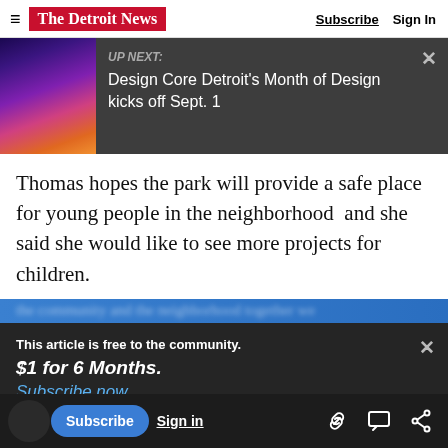The Detroit News | Subscribe | Sign In
[Figure (screenshot): UP NEXT banner with image on left showing colorful scene, dark background, text reading 'UP NEXT: Design Core Detroit's Month of Design kicks off Sept. 1' with close X button]
Thomas hopes the park will provide a safe place for young people in the neighborhood  and she said she would like to see more projects for children.
This article is free to the community. $1 for 6 Months. Subscribe now
It's a mixed community, but it's also a very close-
to consider the aging population and the younger
Subscribe | Sign in | [link icon] [comment icon] [share icon]